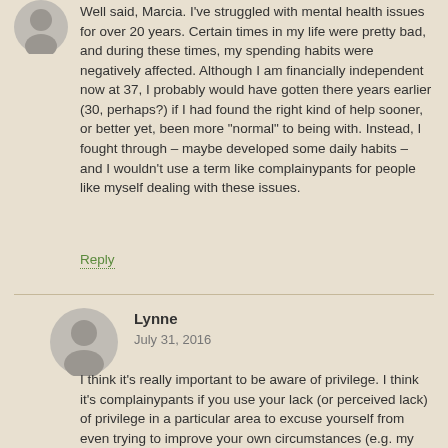[Figure (illustration): Grayscale user avatar icon (partial, top cropped) - circle with person silhouette]
Well said, Marcia. I've struggled with mental health issues for over 20 years. Certain times in my life were pretty bad, and during these times, my spending habits were negatively affected. Although I am financially independent now at 37, I probably would have gotten there years earlier (30, perhaps?) if I had found the right kind of help sooner, or better yet, been more "normal" to being with. Instead, I fought through – maybe developed some daily habits – and I wouldn't use a term like complainypants for people like myself dealing with these issues.
Reply
[Figure (illustration): Grayscale user avatar icon - circle with person silhouette for Lynne]
Lynne
July 31, 2016
I think it's really important to be aware of privilege. I think it's complainypants if you use your lack (or perceived lack) of privilege in a particular area to excuse yourself from even trying to improve your own circumstances (e.g. my older brother who'll tell you all about how the World Did Him Wrong – much of which is quite true – and then not mention all the years